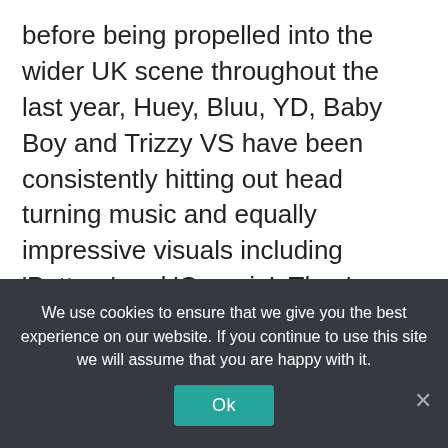before being propelled into the wider UK scene throughout the last year, Huey, Bluu, YD, Baby Boy and Trizzy VS have been consistently hitting out head turning music and equally impressive visuals including 'Pattern' and 'Creepin'. They've won fans in the likes of DJ Target and Kiss FM and fellow Notts stars Young T and Bugsey before catching the eye of Stormzy's booking agent. Trinity Square were snapped up, joining the roster with the likes of Krept & Konan, J Hus and D-
We use cookies to ensure that we give you the best experience on our website. If you continue to use this site we will assume that you are happy with it.